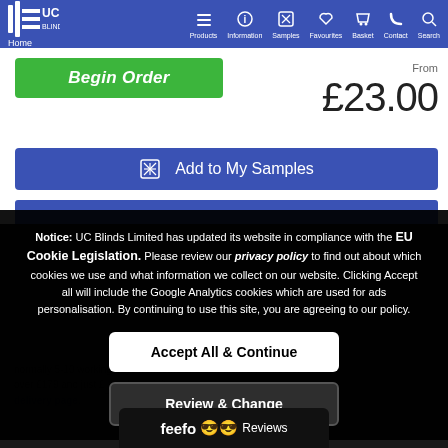UC Blinds — Home | Products | Information | Samples | Favourites | Basket | Contact | Search
Begin Order
From £23.00
Add to My Samples
Notice: UC Blinds Limited has updated its website in compliance with the EU Cookie Legislation. Please review our privacy policy to find out about which cookies we use and what information we collect on our website. Clicking Accept all will include the Google Analytics cookies which are used for ads personalisation. By continuing to use this site, you are agreeing to our policy.
Accept All & Continue
Review & Change
normally 5-10 working days from date of order. Delivery is free on orders over £179 and just £... To visit our delivery page.
feefo Reviews